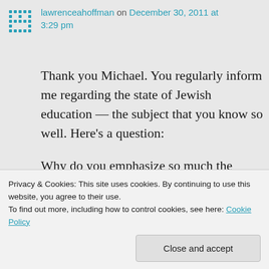[Figure (other): User avatar icon — teal grid/dot pattern]
lawrenceahoffman on December 30, 2011 at 3:29 pm
Thank you Michael. You regularly inform me regarding the state of Jewish education — the subject that you know so well. Here's a question:

Why do you emphasize so much the notion of “textual tradition.” We Jews like to think that we have texts in a way that others do not. but is that true? I remember being an something which led me to ask, "How do
Privacy & Cookies: This site uses cookies. By continuing to use this website, you agree to their use.
To find out more, including how to control cookies, see here: Cookie Policy